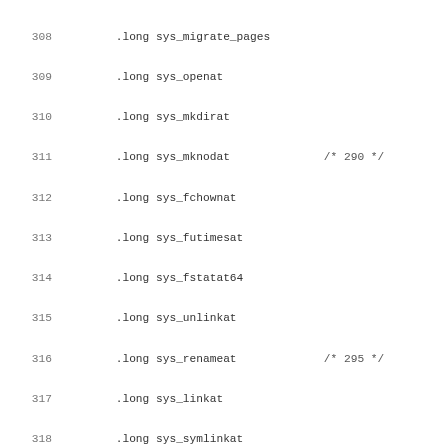308  .long sys_migrate_pages
309  .long sys_openat
310  .long sys_mkdirat
311  .long sys_mknodat   /* 290 */
312  .long sys_fchownat
313  .long sys_futimesat
314  .long sys_fstatat64
315  .long sys_unlinkat
316  .long sys_renameat   /* 295 */
317  .long sys_linkat
318  .long sys_symlinkat
319  .long sys_readlinkat
320  .long sys_fchmodat
321  .long sys_faccessat   /* 300 */
322  .long sys_ni_syscall   /* Reserved fo
323  .long sys_ni_syscall   /* Reserved fo
324  .long sys_unshare
325  .long sys_set_robust_list
326  .long sys_get_robust_list   /* 305 */
327  .long sys_splice
328  .long sys_sync_file_range
329  .long sys_tee
330  .long sys_vmsplice
331  .long sys_move_pages   /* 310 */
332  .long sys_sched_setaffinity
333  .long sys_sched_getaffinity
334  .long sys_kexec_load
335  .long sys_getcpu
336  .long sys_epoll_pwait   /* 315 */
337  .long sys_utimensat
338  .long sys_signalfd
339  .long sys_timerfd_create